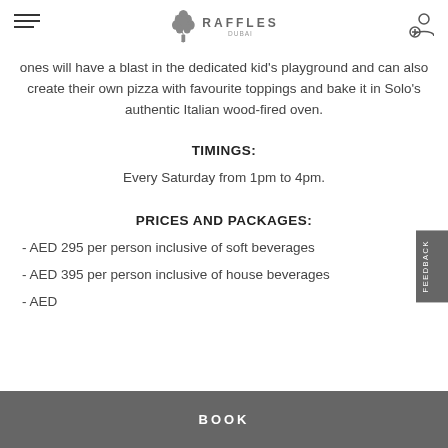Raffles Dubai — header navigation
ones will have a blast in the dedicated kid's playground and can also create their own pizza with favourite toppings and bake it in Solo's authentic Italian wood-fired oven.
TIMINGS:
Every Saturday from 1pm to 4pm.
PRICES AND PACKAGES:
- AED 295 per person inclusive of soft beverages
- AED 395 per person inclusive of house beverages
- AED ...